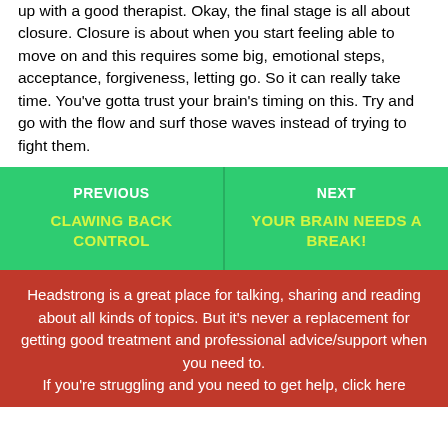up with a good therapist. Okay, the final stage is all about closure. Closure is about when you start feeling able to move on and this requires some big, emotional steps, acceptance, forgiveness, letting go. So it can really take time. You've gotta trust your brain's timing on this. Try and go with the flow and surf those waves instead of trying to fight them.
[Figure (infographic): Navigation block with two green panels side by side. Left panel: PREVIOUS / CLAWING BACK CONTROL. Right panel: NEXT / YOUR BRAIN NEEDS A BREAK!]
Headstrong is a great place for talking, sharing and reading about all kinds of topics. But it's never a replacement for getting good treatment and professional advice/support when you need to. If you're struggling and you need to get help, click here